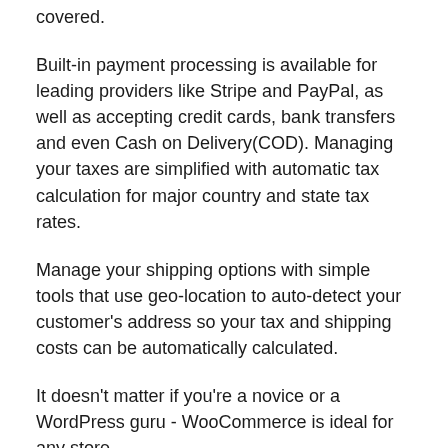covered.
Built-in payment processing is available for leading providers like Stripe and PayPal, as well as accepting credit cards, bank transfers and even Cash on Delivery(COD). Managing your taxes are simplified with automatic tax calculation for major country and state tax rates.
Manage your shipping options with simple tools that use geo-location to auto-detect your customer's address so your tax and shipping costs can be automatically calculated.
It doesn't matter if you're a novice or a WordPress guru - WooCommerce is ideal for any store.
Server Requirements